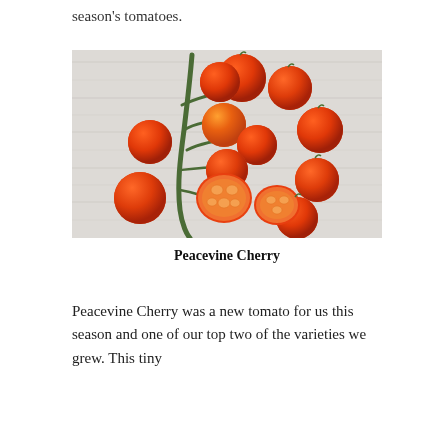season's tomatoes.
[Figure (photo): Overhead photograph of cherry tomatoes on the vine on a whitewashed wood surface. Several whole cherry tomatoes are clustered together with green stems/vine, and two tomatoes are cut in half showing the interior seeds and flesh.]
Peacevine Cherry
Peacevine Cherry was a new tomato for us this season and one of our top two of the varieties we grew. This tiny